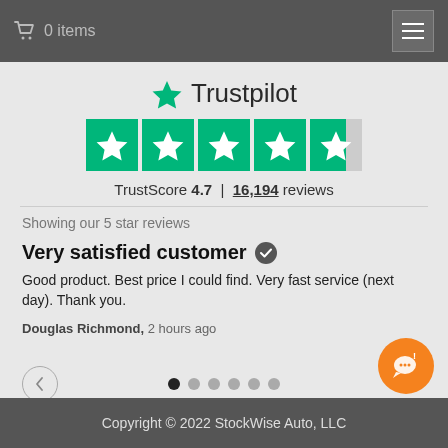🛒 0 items
[Figure (logo): Trustpilot logo with green star and text, followed by 4.5 green star rating boxes, TrustScore 4.7, 16,194 reviews]
Showing our 5 star reviews
Very satisfied customer ✔
Good product. Best price I could find. Very fast service (next day). Thank you.
Douglas Richmond, 2 hours ago
Copyright © 2022 StockWise Auto, LLC